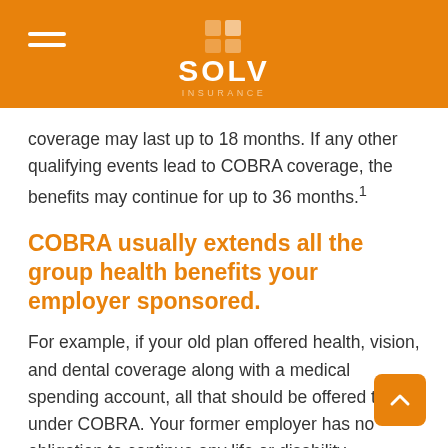SOLV
coverage may last up to 18 months. If any other qualifying events lead to COBRA coverage, the benefits may continue for up to 36 months.¹
COBRA usually extends all the group health benefits your employer sponsored.
For example, if your old plan offered health, vision, and dental coverage along with a medical spending account, all that should be offered to you under COBRA. Your former employer has no obligation to continue any life or disability insurance coverage through COBRA.
Divorcing spouses should take a look at COBRA.